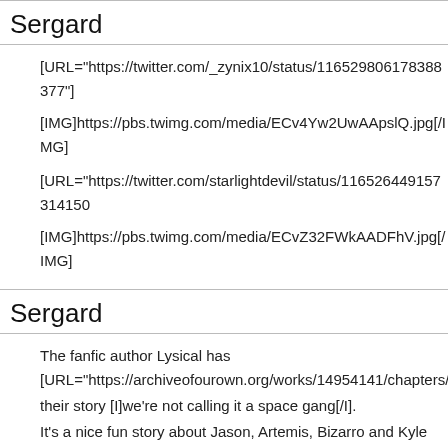Sergard
[URL="https://twitter.com/_zynix10/status/116529806178388377"]
[IMG]https://pbs.twimg.com/media/ECv4Yw2UwAApslQ.jpg[/IMG]
[URL="https://twitter.com/starlightdevil/status/116526449157314150
[IMG]https://pbs.twimg.com/media/ECvZ32FWkAADFhV.jpg[/IMG]
Sergard
The fanfic author Lysical has [URL="https://archiveofourown.org/works/14954141/chapters/3465 their story [I]we're not calling it a space gang[/I].
It's a nice fun story about Jason, Artemis, Bizarro and Kyle Rayner h adventure.
And here are some fanarts by A Potato(@absolute-0zero)
[URL="https://absolute-0zero.tumblr.com/post/184267680265/well-a dying-as-a-happy"]@absolute-0zero[/URL]